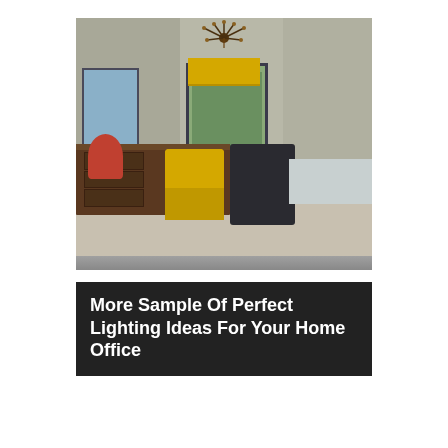[Figure (photo): Interior photo of a home office with mid-century modern style. Features a sputnik ceiling light, yellow roman shade on center glass doors, yellow accent chair, dark leather office chair, wooden sideboard/dresser, desk on right side with shelving unit, bookcase, red flowers, and a large mirror on the left wall. Color palette of grey walls, yellow accents, and dark brown wood furniture.]
More Sample Of Perfect Lighting Ideas For Your Home Office